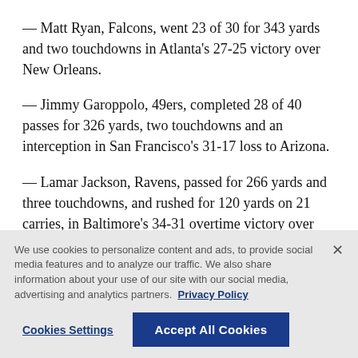— Matt Ryan, Falcons, went 23 of 30 for 343 yards and two touchdowns in Atlanta's 27-25 victory over New Orleans.
— Jimmy Garoppolo, 49ers, completed 28 of 40 passes for 326 yards, two touchdowns and an interception in San Francisco's 31-17 loss to Arizona.
— Lamar Jackson, Ravens, passed for 266 yards and three touchdowns, and rushed for 120 yards on 21 carries, in Baltimore's 34-31 overtime victory over
We use cookies to personalize content and ads, to provide social media features and to analyze our traffic. We also share information about your use of our site with our social media, advertising and analytics partners. Privacy Policy
Cookies Settings | Accept All Cookies